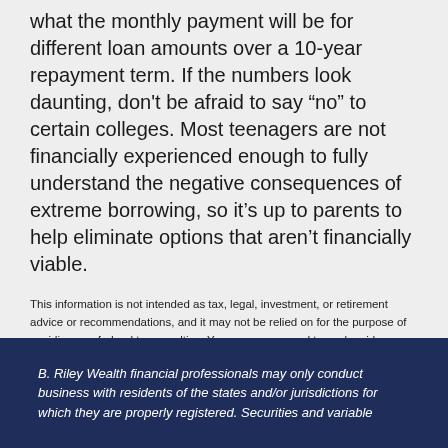what the monthly payment will be for different loan amounts over a 10-year repayment term. If the numbers look daunting, don't be afraid to say “no” to certain colleges. Most teenagers are not financially experienced enough to fully understand the negative consequences of extreme borrowing, so it’s up to parents to help eliminate options that aren’t financially viable.
This information is not intended as tax, legal, investment, or retirement advice or recommendations, and it may not be relied on for the purpose of avoiding any federal tax penalties. You are encouraged to seek guidance from an independent tax or legal professional. The content is derived from sources believed to be accurate. Neither the information presented nor any opinion expressed constitutes a solicitation for the purchase or sale of any security. This material was written and prepared by Broadridge Advisor Solutions. © 2022 Broadridge Financial Solutions, Inc.
B. Riley Wealth financial professionals may only conduct business with residents of the states and/or jurisdictions for which they are properly registered. Securities and variable